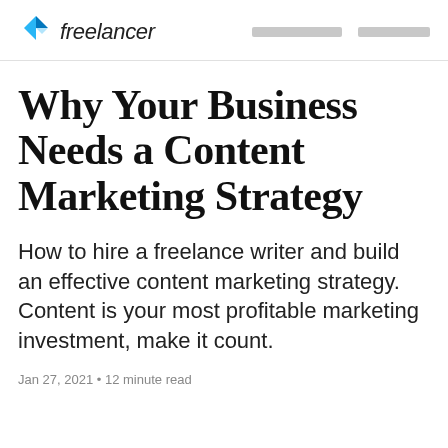freelancer
Why Your Business Needs a Content Marketing Strategy
How to hire a freelance writer and build an effective content marketing strategy. Content is your most profitable marketing investment, make it count.
Jan 27, 2021 • 12 minute read